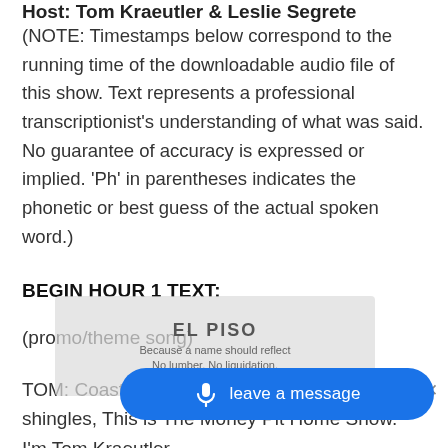Host: Tom Kraeutler & Leslie Segrete
(NOTE: Timestamps below correspond to the running time of the downloadable audio file of this show. Text represents a professional transcriptionist's understanding of what was said. No guarantee of accuracy is expressed or implied. 'Ph' in parentheses indicates the phonetic or best guess of the actual spoken word.)
BEGIN HOUR 1 TEXT:
(promo/theme song)
TOM: Coast to coast and floorboards to shingles, This is The Money Pit Home Show. I'm Tom Kraeutler.